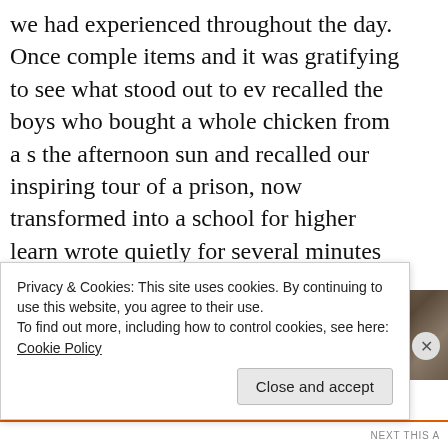we had experienced throughout the day.  Once complete items and it was gratifying to see what stood out to everyone. recalled the boys who bought a whole chicken from a street vendor in the afternoon sun and recalled our inspiring tour of a former prison, now transformed into a school for higher learning. wrote quietly for several minutes about what stood out to us, we all wrote a bit more about something that pressed us intellectually, emotionally, or physically and thought about how we would respond. As we shared out, Alejandro spoke first about his realization of taking things for granted in the United States. Maribel was moved by seeing young children working on the streets. Brendin spoke about the challenge of being patient during times of...
[Figure (photo): Partial photo visible in upper right area of text block, appears to show people indoors]
Privacy & Cookies: This site uses cookies. By continuing to use this website, you agree to their use. To find out more, including how to control cookies, see here: Cookie Policy
Close and accept